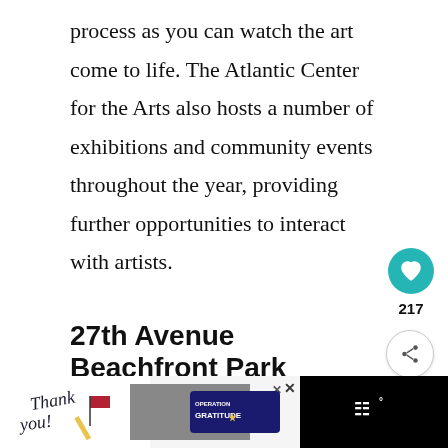process as you can watch the art come to life. The Atlantic Center for the Arts also hosts a number of exhibitions and community events throughout the year, providing further opportunities to interact with artists.
27th Avenue Beachfront Park
Facing east, there are many place
Smyrna Beach to capture a golden sunrise.
[Figure (screenshot): Like button (heart icon, teal circle), share count 217, and share button]
[Figure (screenshot): What's Next widget with thumbnail and text: The 18+ BEST Things to D...]
[Figure (screenshot): Bottom advertisement bar with military gratitude ad, close button, and Operation Gratitude logo]